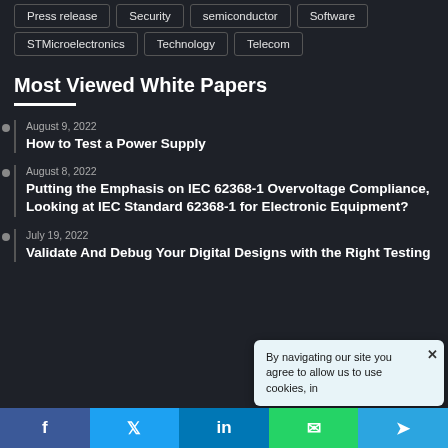Press release
Security
semiconductor
Software
STMicroelectronics
Technology
Telecom
Most Viewed White Papers
August 9, 2022
How to Test a Power Supply
August 8, 2022
Putting the Emphasis on IEC 62368-1 Overvoltage Compliance, Looking at IEC Standard 62368-1 for Electronic Equipment?
July 19, 2022
Validate And Debug Your Digital Designs with the Right Testing
By navigating our site you agree to allow us to use cookies, in